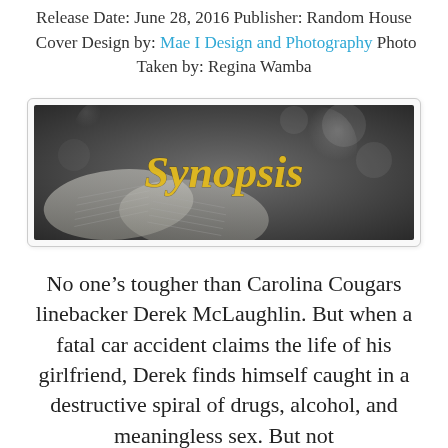Release Date: June 28, 2016 Publisher: Random House  Cover Design by: Mae I Design and Photography Photo Taken by: Regina Wamba
[Figure (illustration): A decorative banner image with a dark grayscale background showing an open book with bokeh light effects. The word 'Synopsis' is written in gold cursive script over the image.]
No one's tougher than Carolina Cougars linebacker Derek McLaughlin. But when a fatal car accident claims the life of his girlfriend, Derek finds himself caught in a destructive spiral of drugs, alcohol, and meaningless sex. But not